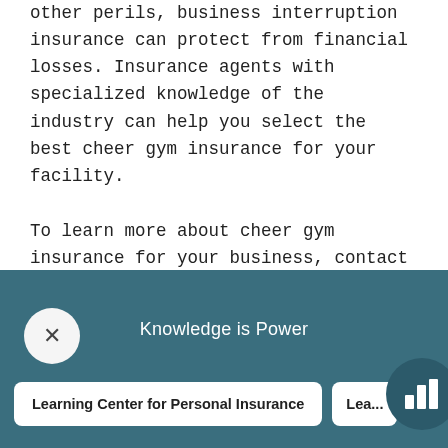other perils, business interruption insurance can protect from financial losses. Insurance agents with specialized knowledge of the industry can help you select the best cheer gym insurance for your facility.
To learn more about cheer gym insurance for your business, contact us today.
Knowledge is Power
Learning Center for Personal Insurance
Lea...